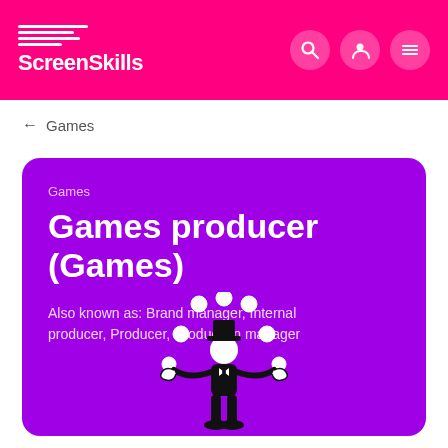ScreenSkills
← Games
Games
Games producer (Games)
Also known as: Brand manager, Internal producer, Producer, Production manager
[Figure (illustration): A person juggling balls, illustrated in black and white on a purple background]